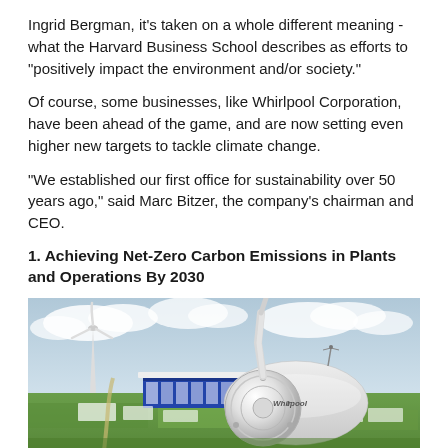Ingrid Bergman, it's taken on a whole different meaning - what the Harvard Business School describes as efforts to "positively impact the environment and/or society."
Of course, some businesses, like Whirlpool Corporation, have been ahead of the game, and are now setting even higher new targets to tackle climate change.
"We established our first office for sustainability over 50 years ago," said Marc Bitzer, the company's chairman and CEO.
1. Achieving Net-Zero Carbon Emissions in Plants and Operations By 2030
[Figure (photo): Aerial photograph of a Whirlpool wind turbine hub in the foreground, with wind turbines and a large industrial facility visible in the background set against a green rural landscape under a cloudy sky. The Whirlpool logo is visible on the turbine hub.]